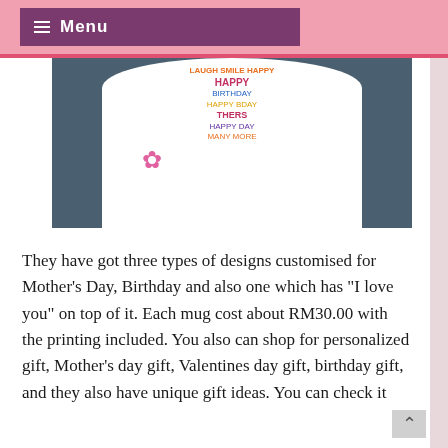☰ Menu
[Figure (photo): Top view of a white ceramic mug with colorful text printed inside including happy birthday and other celebration messages on a dark teal background]
They have got three types of designs customised for Mother's Day, Birthday and also one which has "I love you" on top of it. Each mug cost about RM30.00 with the printing included. You also can shop for personalized gift, Mother's day gift, Valentines day gift, birthday gift, and they also have unique gift ideas. You can check it